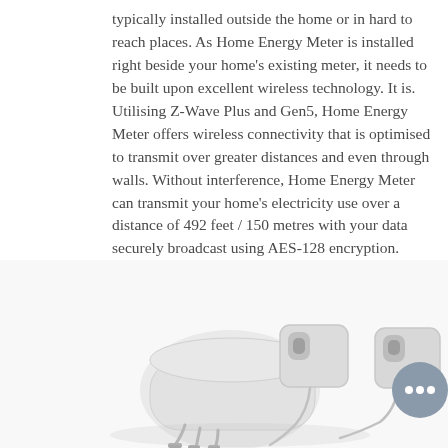typically installed outside the home or in hard to reach places. As Home Energy Meter is installed right beside your home's existing meter, it needs to be built upon excellent wireless technology. It is. Utilising Z-Wave Plus and Gen5, Home Energy Meter offers wireless connectivity that is optimised to transmit over greater distances and even through walls. Without interference, Home Energy Meter can transmit your home's electricity use over a distance of 492 feet / 150 metres with your data securely broadcast using AES-128 encryption.
[Figure (photo): Photo of Home Energy Meter device components: a white main unit with cables and two white clamp-style current transformer sensors, displayed on white background.]